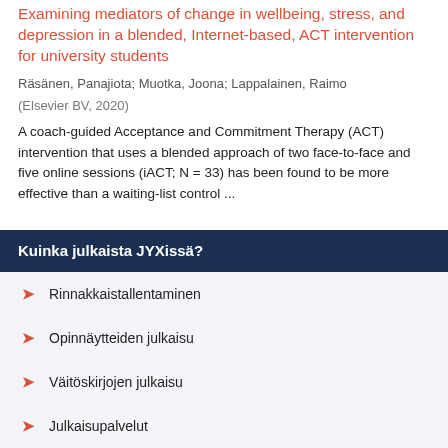Examining mediators of change in wellbeing, stress, and depression in a blended, Internet-based, ACT intervention for university students
Räsänen, Panajiota; Muotka, Joona; Lappalainen, Raimo
(Elsevier BV, 2020)
A coach-guided Acceptance and Commitment Therapy (ACT) intervention that uses a blended approach of two face-to-face and five online sessions (iACT; N = 33) has been found to be more effective than a waiting-list control ...
Kuinka julkaista JYXissä?
Rinnakkaistallentaminen
Opinnäytteiden julkaisu
Väitöskirjojen julkaisu
Julkaisupalvelut